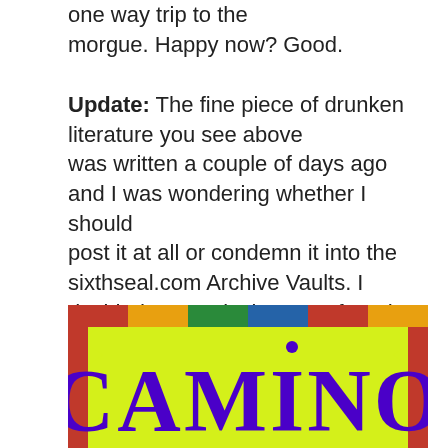one way trip to the morgue. Happy now? Good.
Update: The fine piece of drunken literature you see above was written a couple of days ago and I was wondering whether I should post it at all or condemn it into the sixthseal.com Archive Vaults. I decided to post it since I've found a duty free operation so I have to more photos to add. Here's the Camino Tequila Gold:
[Figure (photo): Photo of the Camino Tequila Gold bottle label — a bright yellow-green sign with the word CAMINO in large dark purple serif letters, red decorative border with triangular patterns, and colorful top border strip.]